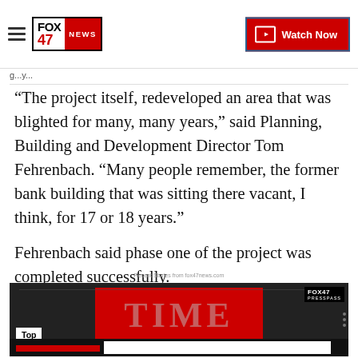FOX 47 NEWS | Watch Now
g...y...
“The project itself, redeveloped an area that was blighted for many, many years,” said Planning, Building and Development Director Tom Fehrenbach. "Many people remember, the former bank building that was sitting there vacant, I think, for 17 or 18 years.”
Fehrenbach said phase one of the project was completed successfully.
Recent Stories from fox47news.com
[Figure (screenshot): Video thumbnail showing TIME magazine cover in red and dark background, with FOX47 PRESSPASS overlay and Top Hits label]